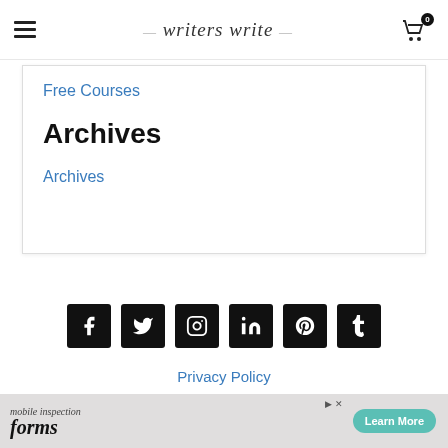writers write
Free Courses
Archives
Archives
[Figure (infographic): Social media icons row: Facebook, Twitter, Instagram, LinkedIn, Pinterest, Tumblr — white icons on black square backgrounds]
Privacy Policy
[Figure (screenshot): Advertisement banner for mobile inspection forms with Learn More button]